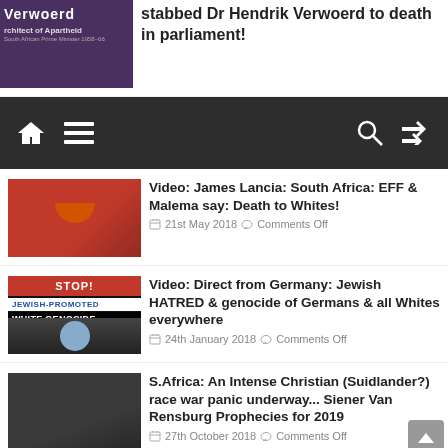[Figure (screenshot): Partial top article thumbnail - Verwoerd image with purple background, 'Architect of Apartheid' label]
stabbed Dr Hendrik Verwoerd to death in parliament!
[Figure (screenshot): Dark navigation bar with home icon, menu icon, search icon, shuffle icon]
[Figure (photo): EFF article thumbnail - man in red beret smiling]
Video: James Lancia: South Africa: EFF & Malema say: Death to Whites!
21st May 2018   Comments Off
[Figure (photo): Jewish-Promoted White Genocide graphic with baby and text overlays]
Video: Direct from Germany: Jewish HATRED & genocide of Germans & all Whites everywhere
24th January 2018   Comments Off
[Figure (photo): Dark image with 'THE FUTURE' text label]
S.Africa: An Intense Christian (Suidlander?) race war panic underway... Siener Van Rensburg Prophecies for 2019
27th October 2018   Comments Off